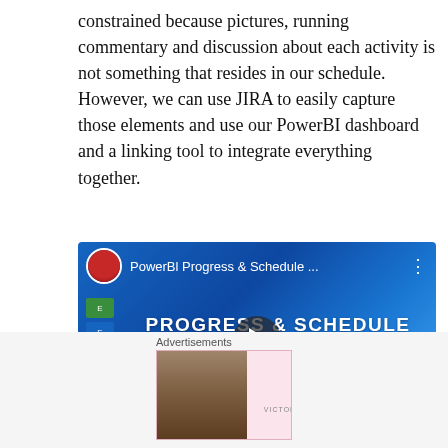constrained because pictures, running commentary and discussion about each activity is not something that resides in our schedule. However, we can use JIRA to easily capture those elements and use our PowerBI dashboard and a linking tool to integrate everything together.
[Figure (screenshot): Video thumbnail for 'PowerBI Progress & Schedule ...' showing a YouTube-style video card with title 'PROGRESS & SCHEDULE DASHBOARD - PART 5 AGILE / JIRA INTEGRATION' on blue background with play button]
Advertisements
[Figure (screenshot): Victoria's Secret advertisement banner: pink background with VS logo, 'SHOP THE COLLECTION' text and 'SHOP NOW' button]